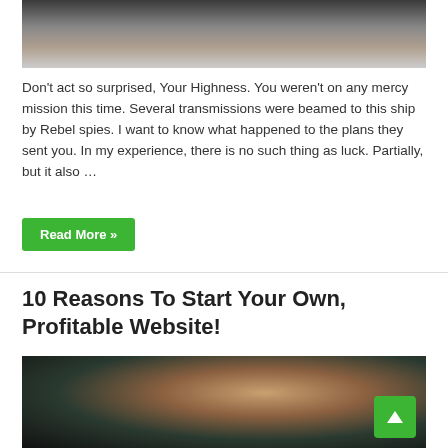[Figure (photo): Partial photo of person seated in chair, feet/legs visible from below, dark clothing]
Don't act so surprised, Your Highness. You weren't on any mercy mission this time. Several transmissions were beamed to this ship by Rebel spies. I want to know what happened to the plans they sent you. In my experience, there is no such thing as luck. Partially, but it also …
Read More »
10 Reasons To Start Your Own, Profitable Website!
[Figure (photo): Photo of audience members at an event, woman with blonde hair in foreground looking thoughtful, other attendees behind her, dark background]